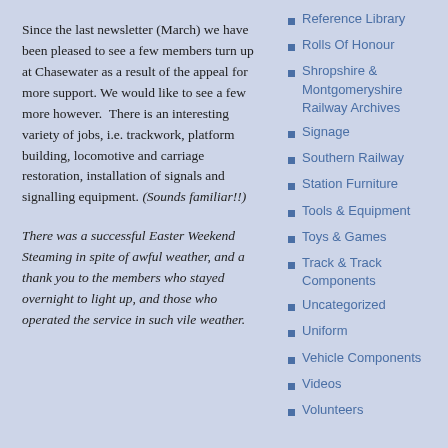Since the last newsletter (March) we have been pleased to see a few members turn up at Chasewater as a result of the appeal for more support. We would like to see a few more however. There is an interesting variety of jobs, i.e. trackwork, platform building, locomotive and carriage restoration, installation of signals and signalling equipment. (Sounds familiar!!)
There was a successful Easter Weekend Steaming in spite of awful weather, and a thank you to the members who stayed overnight to light up, and those who operated the service in such vile weather.
Reference Library
Rolls Of Honour
Shropshire & Montgomeryshire Railway Archives
Signage
Southern Railway
Station Furniture
Tools & Equipment
Toys & Games
Track & Track Components
Uncategorized
Uniform
Vehicle Components
Videos
Volunteers